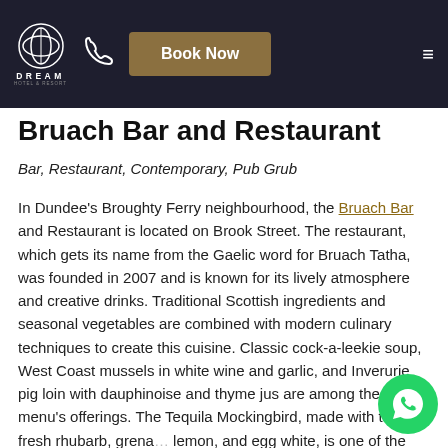DREAM — Book Now navigation bar
Bruach Bar and Restaurant
Bar, Restaurant, Contemporary, Pub Grub
In Dundee's Broughty Ferry neighbourhood, the Bruach Bar and Restaurant is located on Brook Street. The restaurant, which gets its name from the Gaelic word for Bruach Tatha, was founded in 2007 and is known for its lively atmosphere and creative drinks. Traditional Scottish ingredients and seasonal vegetables are combined with modern culinary techniques to create this cuisine. Classic cock-a-leekie soup, West Coast mussels in white wine and garlic, and Inverurie pig loin with dauphinoise and thyme jus are among the menu's offerings. The Tequila Mockingbird, made with tequila, fresh rhubarb, grenadine, lemon, and egg white, is one of the bar's signature d…